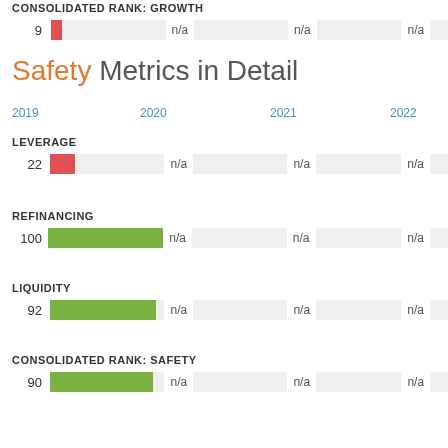CONSOLIDATED RANK: GROWTH
[Figure (bar-chart): Consolidated Rank: Growth]
Safety Metrics in Detail
2019   2020   2021   2022
LEVERAGE
[Figure (bar-chart): Leverage]
REFINANCING
[Figure (bar-chart): Refinancing]
LIQUIDITY
[Figure (bar-chart): Liquidity]
CONSOLIDATED RANK: SAFETY
[Figure (bar-chart): Consolidated Rank: Safety]